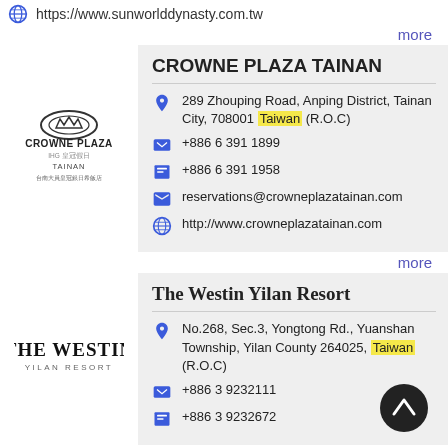https://www.sunworlddynasty.com.tw
more
CROWNE PLAZA TAINAN
289 Zhouping Road, Anping District, Tainan City, 708001 Taiwan (R.O.C)
+886 6 391 1899
+886 6 391 1958
reservations@crowneplazatainan.com
http://www.crowneplazatainan.com
more
The Westin Yilan Resort
No.268, Sec.3, Yongtong Rd., Yuanshan Township, Yilan County 264025, Taiwan (R.O.C)
+886 3 9232111
+886 3 9232672